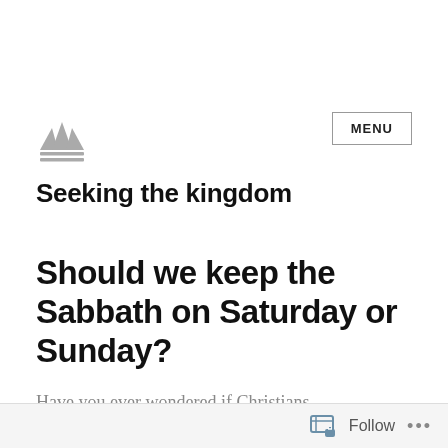[Figure (logo): Crown/kingdom logo icon in grey, with two horizontal lines beneath it]
MENU
Seeking the kingdom
Should we keep the Sabbath on Saturday or Sunday?
Have you ever wondered if Christians
Follow ...